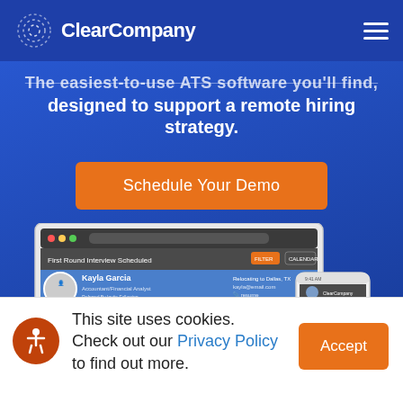ClearCompany
The easiest-to-use ATS software you'll find, designed to support a remote hiring strategy.
Schedule Your Demo
[Figure (screenshot): Screenshot of ClearCompany ATS interface showing 'First Round Interview Scheduled' candidate profile for Kayla Garcia, with tabs for Profile, Interactions, Hire, Timeline, and a mobile messaging interface on the right.]
This site uses cookies. Check out our Privacy Policy to find out more.
Accept